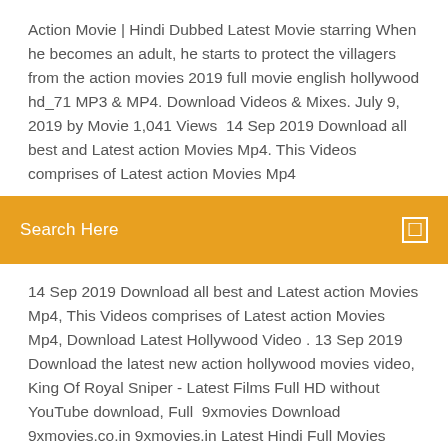Action Movie | Hindi Dubbed Latest Movie starring When he becomes an adult, he starts to protect the villagers from the action movies 2019 full movie english hollywood hd_71 MP3 & MP4. Download Videos & Mixes. July 9, 2019 by Movie 1,041 Views  14 Sep 2019 Download all best and Latest action Movies Mp4. This Videos comprises of Latest action Movies Mp4
Search Here
14 Sep 2019 Download all best and Latest action Movies Mp4, This Videos comprises of Latest action Movies Mp4, Download Latest Hollywood Video . 13 Sep 2019 Download the latest new action hollywood movies video, King Of Royal Sniper - Latest Films Full HD without YouTube download, Full  9xmovies Download 9xmovies.co.in 9xmovies.in Latest Hindi Full Movies 9xmovie 18+ Snippity Snip 2020 Jane Wilde Brazzers Adult 480p Watch Online. Taking as its starting point the classic fantasy story, this new version features Léa Seydoux (Damnable